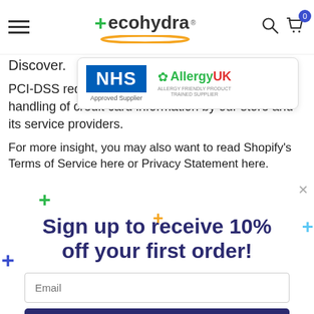ecohydra navigation header with hamburger menu, logo, search and cart icons
Discover.
PCI-DSS requirements he[lp ensure the saf]e s handling of credit card information by our store and its service providers.
For more insight, you may also want to read Shopify's Terms of Service here or Privacy Statement here.
[Figure (logo): NHS Approved Supplier badge and AllergyUK Allergy Friendly Product Trained Supplier badge in a popup overlay]
Sign up to receive 10% off your first order!
Email input field
Sign up button